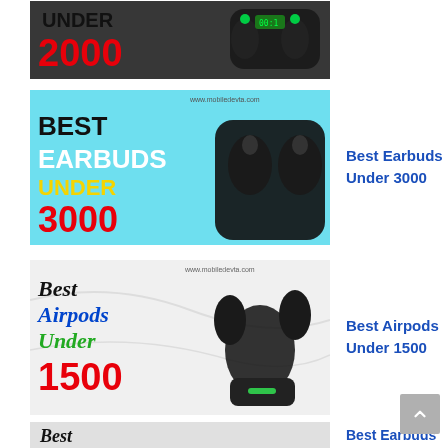[Figure (photo): Earbuds under 2000 promotional image with text UNDER 2000 in red and TWS earbuds in charging case]
[Figure (photo): Best Earbuds Under 3000 promotional image with cyan background and black earbuds in charging case. Text: BEST EARBUDS in white, UNDER in yellow, 3000 in red. URL: www.mobiledevta.com]
Best Earbuds Under 3000
[Figure (photo): Best Airpods Under 1500 promotional image on marble background with black gaming earbuds. Text: Best Airpods in blue, Under in green, 1500 in red. URL: www.mobiledevta.com]
Best Airpods Under 1500
[Figure (photo): Best Earbuds partial image at bottom]
Best Earbuds